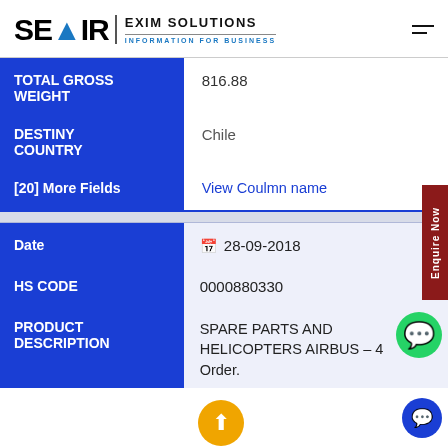SEAIR EXIM SOLUTIONS — INFORMATION FOR BUSINESS
| Field | Value |
| --- | --- |
| TOTAL GROSS WEIGHT | 816.88 |
| DESTINY COUNTRY | Chile |
| [20] More Fields | View Coulmn name |
| Field | Value |
| --- | --- |
| Date | 28-09-2018 |
| HS CODE | 0000880330 |
| PRODUCT DESCRIPTION | SPARE PARTS AND HELICOPTERS AIRBUS – 4 Order. |